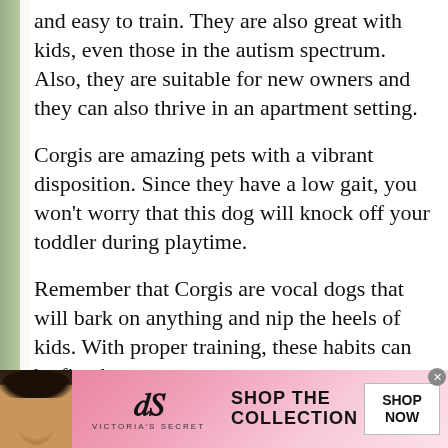and easy to train. They are also great with kids, even those in the autism spectrum. Also, they are suitable for new owners and they can also thrive in an apartment setting.
Corgis are amazing pets with a vibrant disposition. Since they have a low gait, you won't worry that this dog will knock off your toddler during playtime.
Remember that Corgis are vocal dogs that will bark on anything and nip the heels of kids. With proper training, these habits can be fixed.
Corgis might be small dogs, but they are always energetic. They suit homes looking for an active companion that will keep a child with autism
[Figure (photo): Victoria's Secret advertisement banner with a woman model, VS logo, 'SHOP THE COLLECTION' text, and a 'SHOP NOW' button on a pink gradient background.]